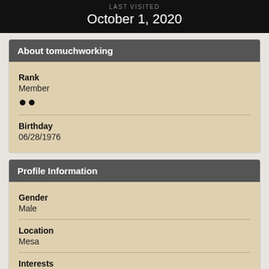LAST VISITED
October 1, 2020
About tomuchworking
Rank
Member
●●
Birthday
06/28/1976
Profile Information
Gender
Male
Location
Mesa
Interests
My 4 boys and their Mom, Being in the woods,